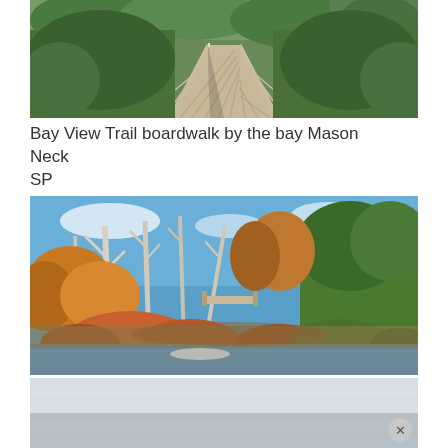[Figure (photo): Wooden boardwalk trail with railings curving through lush green vegetation, viewed in perspective along the walkway. Outdoor nature scene.]
Bay View Trail boardwalk by the bay Mason Neck SP
[Figure (photo): Outdoor nature scene with sparse white-barked trees in autumn foliage, wetland area with still water in foreground, blue sky, and a small wooden bridge/boardwalk visible in the background.]
[Figure (photo): Partially visible photo at bottom of page, appears to show a grey/white hazy or overcast outdoor scene, possibly water or sky.]